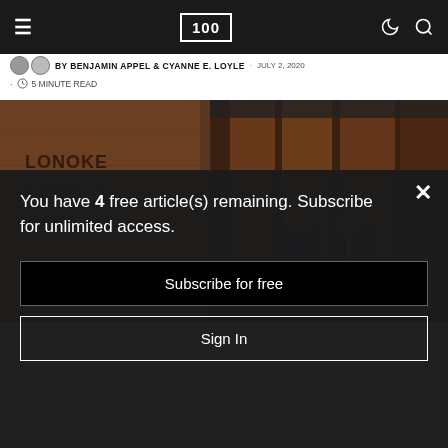100 (logo) with navigation icons
BY BENJAMIN APPEL & CYANNE E. LOYLE · JULY 2, 2020 · 5 MINUTE READ
[Figure (photo): Two men in suits standing at the National Memorial for Peace and Justice with a stone marker reading LONOKE COUNTY ARKANSAS in the background]
You have 4 free article(s) remaining. Subscribe for unlimited access.
Subscribe for free
Sign In